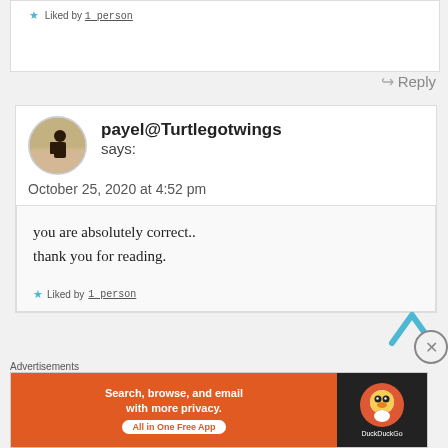★ Liked by 1 person
↪ Reply
payel@Turtlegotwings says:
October 25, 2020 at 4:52 pm
you are absolutely correct.. thank you for reading.
★ Liked by 1 person
Advertisements
[Figure (screenshot): DuckDuckGo advertisement banner: 'Search, browse, and email with more privacy. All in One Free App' with DuckDuckGo duck logo on dark background]